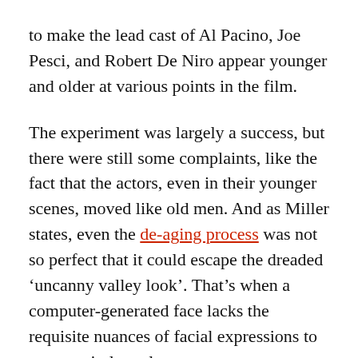to make the lead cast of Al Pacino, Joe Pesci, and Robert De Niro appear younger and older at various points in the film.
The experiment was largely a success, but there were still some complaints, like the fact that the actors, even in their younger scenes, moved like old men. And as Miller states, even the de-aging process was not so perfect that it could escape the dreaded ‘uncanny valley look’. That’s when a computer-generated face lacks the requisite nuances of facial expressions to seem entirely real.
The same kind of de-aging process was also used in Marvel movies to present younger versions of Tony Stark and Nick Fury. And once again, while mostly successful, the attempts are not entirely